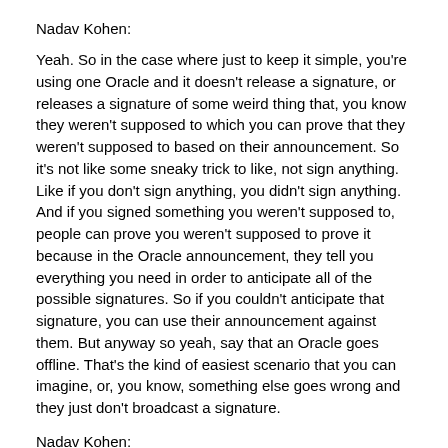Nadav Kohen:
Yeah. So in the case where just to keep it simple, you're using one Oracle and it doesn't release a signature, or releases a signature of some weird thing that, you know they weren't supposed to which you can prove that they weren't supposed to based on their announcement. So it's not like some sneaky trick to like, not sign anything. Like if you don't sign anything, you didn't sign anything. And if you signed something you weren't supposed to, people can prove you weren't supposed to prove it because in the Oracle announcement, they tell you everything you need in order to anticipate all of the possible signatures. So if you couldn't anticipate that signature, you can use their announcement against them. But anyway so yeah, say that an Oracle goes offline. That's the kind of easiest scenario that you can imagine, or, you know, something else goes wrong and they just don't broadcast a signature.
Nadav Kohen:
So our mitigation against this right now kind of in the scenario